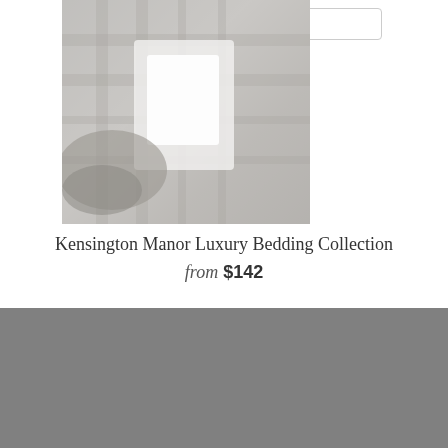[Figure (screenshot): Search bar with magnifying glass icon and placeholder text 'Search...']
LOG IN  /  CART (0)  CHECKOUT
[Figure (photo): Kensington Manor Luxury Bedding Collection product photo showing bed with grey plaid bedding and white pillows]
Kensington Manor Luxury Bedding Collection
from $142
About Us